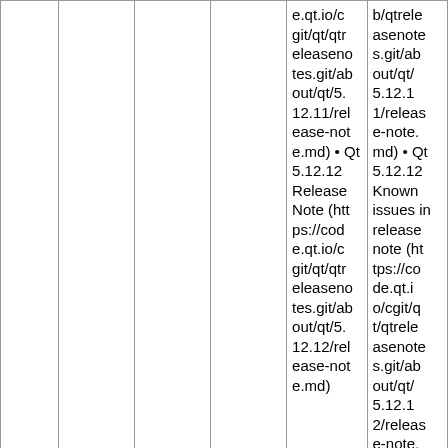|  |  |  |  | e.qt.io/cgit/qt/qtreleasenotes.git/about/qt/5.12.11/release-note.md) • Qt 5.12.12 Release Note (https://code.qt.io/cgit/qt/qtreleasenotes.git/about/qt/5.12.12/release-note.md) | b/qtreleasenotes.git/about/qt/5.12.11/release-note.md) • Qt 5.12.12 Known issues in release note (https://code.qt.io/cgit/qt/qtreleasenotes.git/about/qt/5.12.12/release-note.md) |